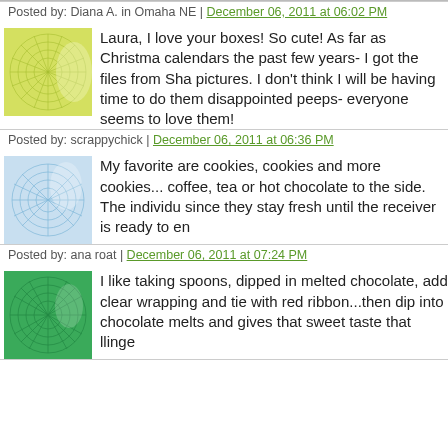Posted by: Diana A. in Omaha NE | December 06, 2011 at 06:02 PM
Laura, I love your boxes! So cute! As far as Christmas calendars the past few years- I got the files from Sha... pictures. I don't think I will be having time to do them... disappointed peeps- everyone seems to love them!
Posted by: scrappychick | December 06, 2011 at 06:36 PM
My favorite are cookies, cookies and more cookies... coffee, tea or hot chocolate to the side. The individu... since they stay fresh until the receiver is ready to en...
Posted by: ana roat | December 06, 2011 at 07:24 PM
I like taking spoons, dipped in melted chocolate, add... clear wrapping and tie with red ribbon...then dip into... chocolate melts and gives that sweet taste that llinge...